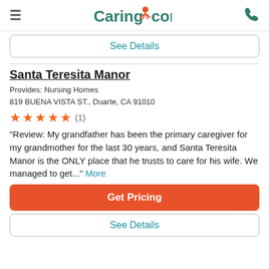Caring.com
See Details
Santa Teresita Manor
Provides: Nursing Homes
819 BUENA VISTA ST., Duarte, CA 91010
★★★★★ (1)
"Review: My grandfather has been the primary caregiver for my grandmother for the last 30 years, and Santa Teresita Manor is the ONLY place that he trusts to care for his wife. We managed to get..." More
Get Pricing
See Details